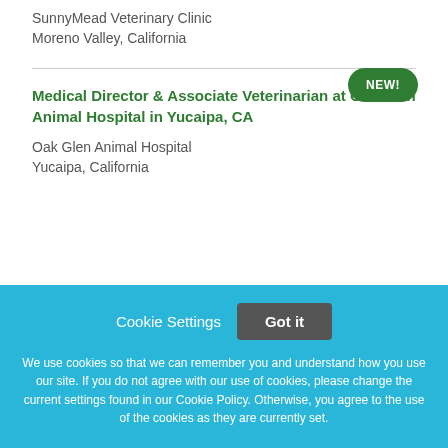SunnyMead Veterinary Clinic
Moreno Valley, California
NEW!
Medical Director & Associate Veterinarian at Oak Glen Animal Hospital in Yucaipa, CA
Oak Glen Animal Hospital
Yucaipa, California
Cookie Settings  Got it
We use cookies so that we can remember you and understand how you use our site. If you do not agree with our use of cookies, please change the current settings found in our Cookie Policy. Otherwise, you agree to the use of the cookies as they are currently set.